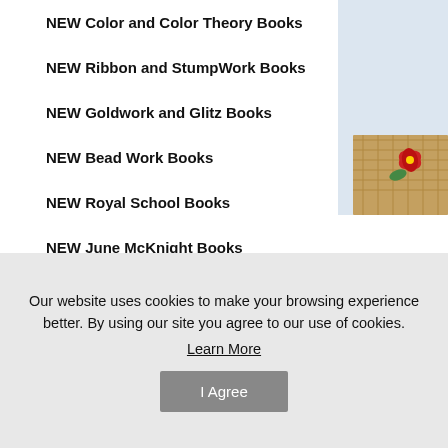[Figure (photo): Decorative image with light blue background and embroidery/crafts item in bottom right corner]
NEW Color and Color Theory Books
NEW Ribbon and StumpWork Books
NEW Goldwork and Glitz Books
NEW Bead Work Books
NEW Royal School Books
NEW June McKnight Books
Graham McCallum Design Template Books
New Embroidery and Cross-Stitch Books
Our website uses cookies to make your browsing experience better. By using our site you agree to our use of cookies. Learn More I Agree